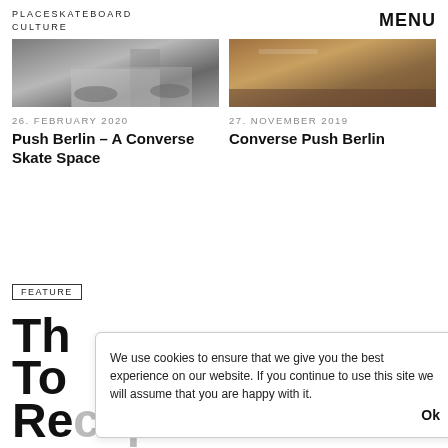PLACESKATEBOARD CULTURE   MENU
[Figure (photo): Skateboarding photo showing feet/shoes near a wooden ramp, grayscale tones]
[Figure (photo): Indoor skate space photo showing a wooden floor and skate features]
26. FEBRUARY 2020
Push Berlin – A Converse Skate Space
27. NOVEMBER 2019
Converse Push Berlin
FEATURE
Th... To... Recap
We use cookies to ensure that we give you the best experience on our website. If you continue to use this site we will assume that you are happy with it.   Ok